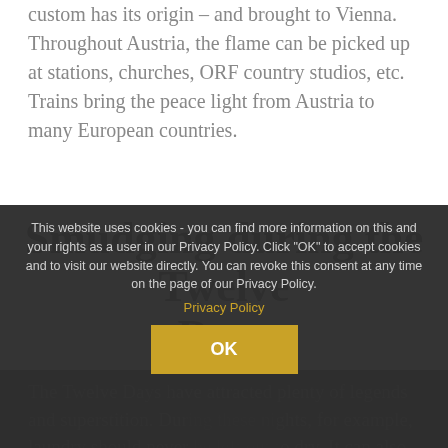custom has its origin – and brought to Vienna. Throughout Austria, the flame can be picked up at stations, churches, ORF country studios, etc. Trains bring the peace light from Austria to many European countries.
Smudging during the Twelve Days
This website uses cookies - you can find more information on this and your rights as a user in our Privacy Policy. Click "OK" to accept cookies and to visit our website directly. You can revoke this consent at any time on the page of our Privacy Policy.
Privacy Policy
OK
The Twelve Days have attracted plenty of legends and superstition. During these nights, for example, laundry should never be left out to dry. It can also